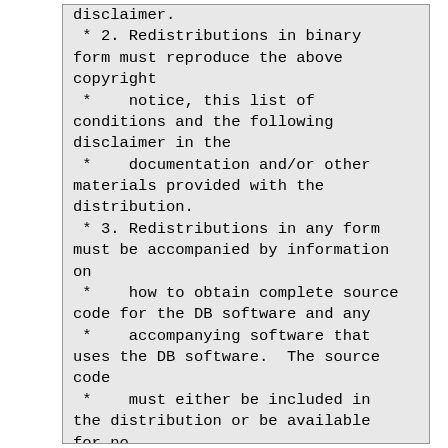disclaimer.
 * 2. Redistributions in binary form must reproduce the above copyright
 *    notice, this list of conditions and the following disclaimer in the
 *    documentation and/or other materials provided with the distribution.
 * 3. Redistributions in any form must be accompanied by information on
 *    how to obtain complete source code for the DB software and any
 *    accompanying software that uses the DB software.  The source code
 *    must either be included in the distribution or be available for no
 *    more than the cost of